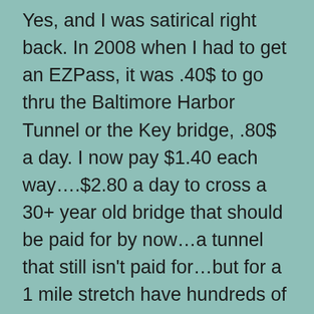Yes, and I was satirical right back. In 2008 when I had to get an EZPass, it was .40$ to go thru the Baltimore Harbor Tunnel or the Key bridge, .80$ a day. I now pay $1.40 each way….$2.80 a day to cross a 30+ year old bridge that should be paid for by now…a tunnel that still isn't paid for…but for a 1 mile stretch have hundreds of MDTA Police to collect more revenue in the form of fines. In 6 years my salary didn't jump 3-4 times, how does a toll? Just who has the information on when will these bridges and tunnels be paid off, what is the interest, and who holds the bonds or handed out the credit? Other states